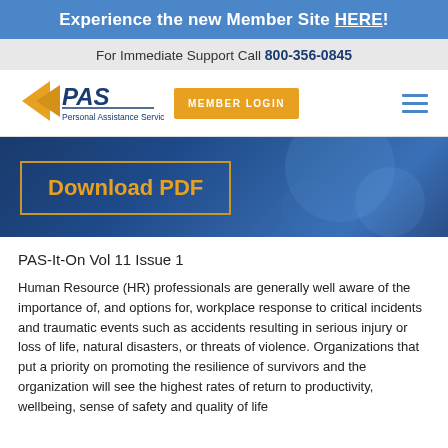Experience the new Member Site HERE!
For Immediate Support Call 800-356-0845
[Figure (logo): PAS Personal Assistance Services logo with gold arrow and blue text]
MEMBER LOGIN
[Figure (screenshot): Download PDF button on dark blue background]
PAS-It-On Vol 11 Issue 1
Human Resource (HR) professionals are generally well aware of the importance of, and options for, workplace response to critical incidents and traumatic events such as accidents resulting in serious injury or loss of life, natural disasters, or threats of violence. Organizations that put a priority on promoting the resilience of survivors and the organization will see the highest rates of return to productivity, wellbeing, sense of safety and quality of life